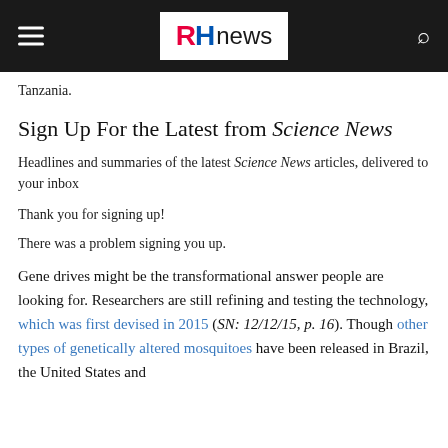RHnews
Tanzania.
Sign Up For the Latest from Science News
Headlines and summaries of the latest Science News articles, delivered to your inbox
Thank you for signing up!
There was a problem signing you up.
Gene drives might be the transformational answer people are looking for. Researchers are still refining and testing the technology, which was first devised in 2015 (SN: 12/12/15, p. 16). Though other types of genetically altered mosquitoes have been released in Brazil, the United States and